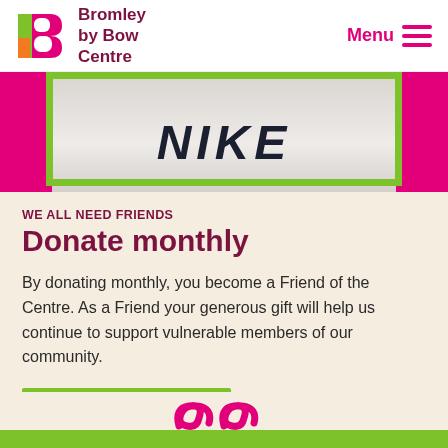Bromley by Bow Centre | Menu
[Figure (photo): Cropped photo of a person wearing a white Nike t-shirt, framed with a green border and pink side panels]
WE ALL NEED FRIENDS
Donate monthly
By donating monthly, you become a Friend of the Centre. As a Friend your generous gift will help us continue to support vulnerable members of our community.
[Figure (other): Green 'Become a Friend' button]